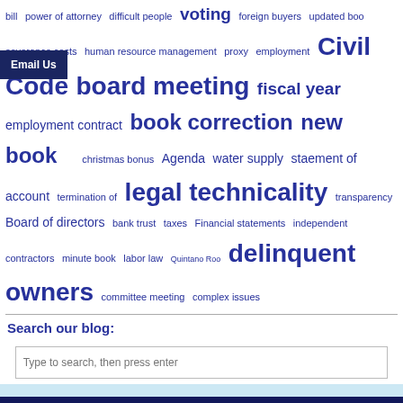bill  power of attorney  difficult people  voting  foreign buyers  updated boo  severance costs  human resource management  proxy  employment  Civil Code  board meeting  fiscal year  employment contract  book correction  new book  christmas bonus  Agenda  water supply  staement of account  termination of  transparency  Board of directors  bank trust  taxes  Financial statements  legal technicality  independent contractors  minute book  labor law  Quintano Roo  delinquent owners  committee meeting  complex issues
Email Us
Search our blog:
Type to search, then press enter
© Copyright 2007 to 2013 JaliscoCondos.org — Premiere Mexican Condominium Administration Information Site. All rights reserved. No reproduction in whole or in part of this web site and its contents is permitted without prior written approval
View Full Site